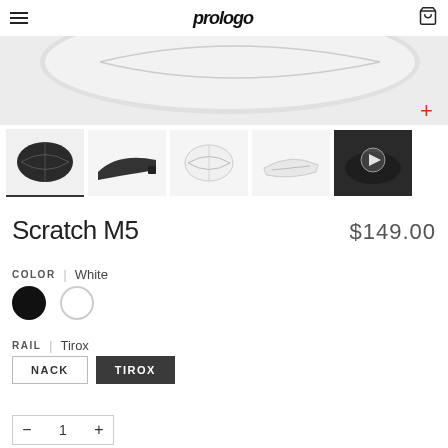prologo
[Figure (photo): Prologo bicycle saddle product images: main hero image (white saddle top view, partially cropped) and five thumbnail images showing different angles of the Scratch M5 saddle including top view, side view, front view, underside, and a dark video thumbnail with play button.]
Scratch M5
$149.00
COLOR | White
RAIL | Tirox
NACK  TIROX
- 1 +